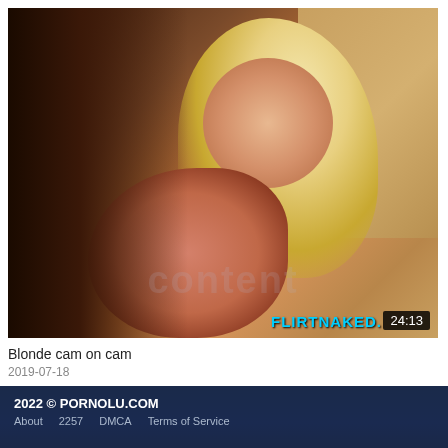[Figure (photo): Video thumbnail showing a blonde woman leaning toward camera with FLIRTNAKED. watermark and 24:13 duration badge in bottom right corner]
Blonde cam on cam
2019-07-18
2022 © PORNOLU.COM
About  2257  DMCA  Terms of Service